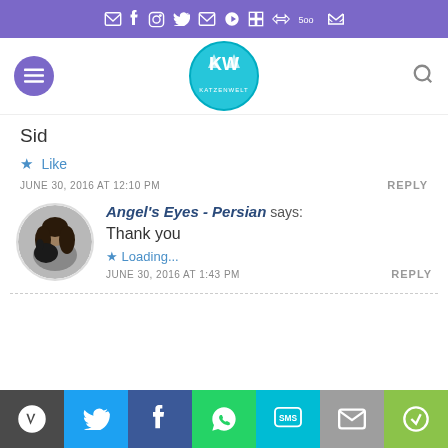Social media icons bar (top navigation)
[Figure (screenshot): Website navigation header with purple menu button, KatzenWelt cat logo in center, and search icon on right]
Sid
Like
JUNE 30, 2016 AT 12:10 PM
REPLY
[Figure (photo): Circular avatar photo of a woman with long dark hair holding a black cat]
Angel's Eyes - Persian says: Thank you
Loading...
JUNE 30, 2016 AT 1:43 PM
REPLY
Share bar: WordPress, Twitter, Facebook, WhatsApp, SMS, Mail, Copy